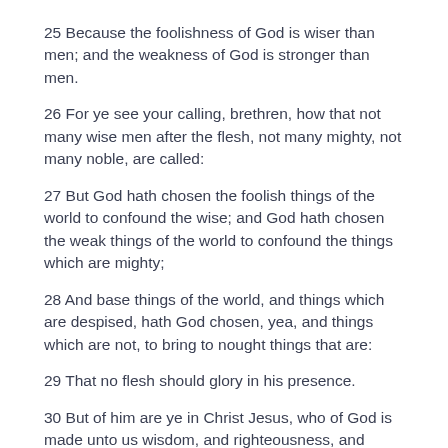25 Because the foolishness of God is wiser than men; and the weakness of God is stronger than men.
26 For ye see your calling, brethren, how that not many wise men after the flesh, not many mighty, not many noble, are called:
27 But God hath chosen the foolish things of the world to confound the wise; and God hath chosen the weak things of the world to confound the things which are mighty;
28 And base things of the world, and things which are despised, hath God chosen, yea, and things which are not, to bring to nought things that are:
29 That no flesh should glory in his presence.
30 But of him are ye in Christ Jesus, who of God is made unto us wisdom, and righteousness, and sanctification, and redemption:
31 That, according as it is written, He that glorieth, let him glory in the Lord.